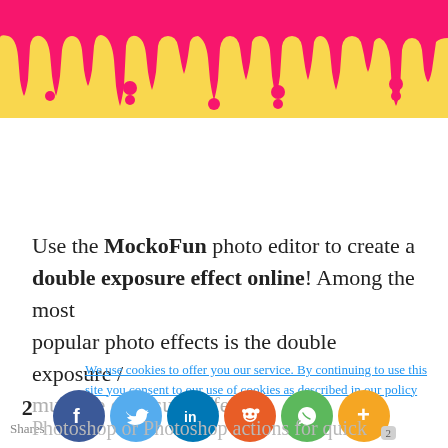[Figure (illustration): Pink dripping slime / paint drips on yellow background banner at the top of the page]
Use the MockoFun photo editor to create a double exposure effect online! Among the most popular photo effects is the double exposure / multiple exposure effect.
We use cookies to offer you our service. By continuing to use this site you consent to our use of cookies as described in our policy
2 Shares
[Figure (infographic): Social share buttons: Facebook (dark blue circle), Twitter (light blue circle), LinkedIn (dark blue circle), Reddit (orange circle), WhatsApp (green circle), More/Plus (orange circle)]
Photoshop or Photoshop actions for quick